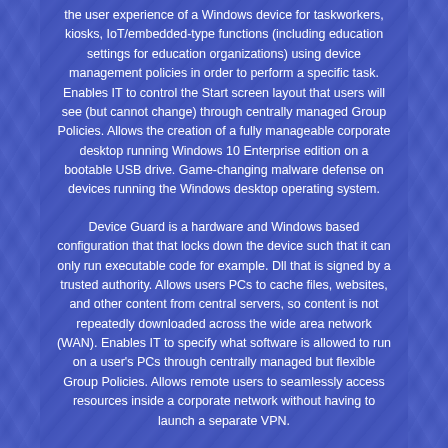the user experience of a Windows device for taskworkers, kiosks, IoT/embedded-type functions (including education settings for education organizations) using device management policies in order to perform a specific task. Enables IT to control the Start screen layout that users will see (but cannot change) through centrally managed Group Policies. Allows the creation of a fully manageable corporate desktop running Windows 10 Enterprise edition on a bootable USB drive. Game-changing malware defense on devices running the Windows desktop operating system.
Device Guard is a hardware and Windows based configuration that that locks down the device such that it can only run executable code for example. Dll that is signed by a trusted authority. Allows users PCs to cache files, websites, and other content from central servers, so content is not repeatedly downloaded across the wide area network (WAN). Enables IT to specify what software is allowed to run on a user's PCs through centrally managed but flexible Group Policies. Allows remote users to seamlessly access resources inside a corporate network without having to launch a separate VPN.